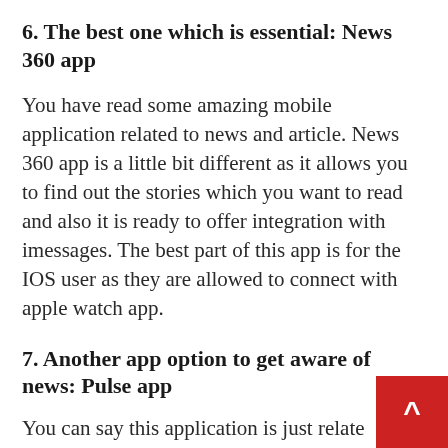6. The best one which is essential: News 360 app
You have read some amazing mobile application related to news and article. News 360 app is a little bit different as it allows you to find out the stories which you want to read and also it is ready to offer integration with imessages. The best part of this app is for the IOS user as they are allowed to connect with apple watch app.
7. Another app option to get aware of news: Pulse app
You can say this application is just related News 360, as here you can search for that